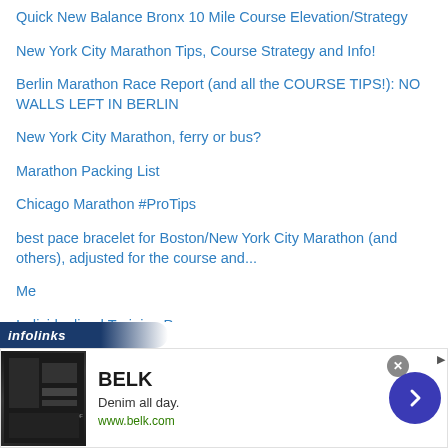Quick New Balance Bronx 10 Mile Course Elevation/Strategy
New York City Marathon Tips, Course Strategy and Info!
Berlin Marathon Race Report (and all the COURSE TIPS!): NO WALLS LEFT IN BERLIN
New York City Marathon, ferry or bus?
Marathon Packing List
Chicago Marathon #ProTips
best pace bracelet for Boston/New York City Marathon (and others), adjusted for the course and...
Me
Individualized Training Programs
I just visited Berlin...want to see?
[Figure (infographic): Infolinks advertisement bar with BELK ad showing denim promotion with www.belk.com URL and navigation arrow button]